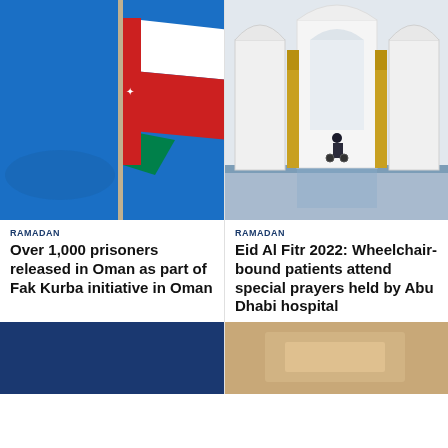[Figure (photo): Oman national flag waving against blue sky on a flag pole]
[Figure (photo): Interior of Abu Dhabi mosque with white arches, golden columns and reflecting pool, person in wheelchair visible]
RAMADAN
Over 1,000 prisoners released in Oman as part of Fak Kurba initiative in Oman
RAMADAN
Eid Al Fitr 2022: Wheelchair-bound patients attend special prayers held by Abu Dhabi hospital
[Figure (photo): Partial view of a dark blue background image at bottom left]
[Figure (photo): Partial view of what appears to be currency or paper at bottom right]